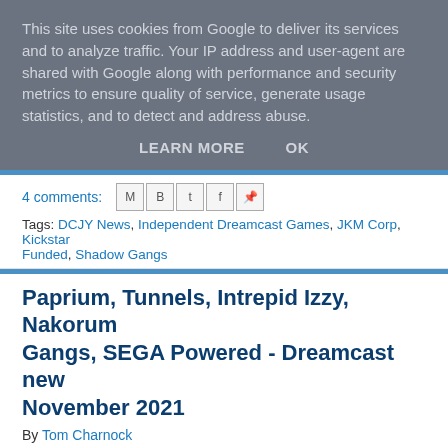This site uses cookies from Google to deliver its services and to analyze traffic. Your IP address and user-agent are shared with Google along with performance and security metrics to ensure quality of service, generate usage statistics, and to detect and address abuse.
LEARN MORE   OK
4 comments:
Tags: DCJY News, Independent Dreamcast Games, JKM Corp, Kickstar... Funded, Shadow Gangs
Paprium, Tunnels, Intrepid Izzy, Nakoru... Gangs, SEGA Powered - Dreamcast new... November 2021
By Tom Charnock
Oh hi there. It's been a bit of a busy few weeks hasn't it? The petrol thing... but that hasn't stopped all manner of interesting things occuring in the wo... you'll no doubt be able to tell from the title of this post, I thought it would... all of these news snippets together into one post here at the Junkyard, se... infoburst you used to get at the end of Bad Influence, but in text form. Ba...